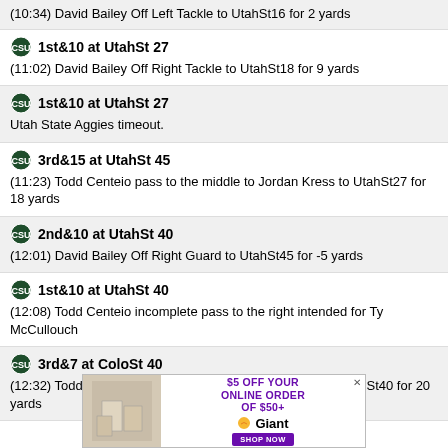(10:34) David Bailey Off Left Tackle to UtahSt16 for 2 yards
1st&10 at UtahSt 27
(11:02) David Bailey Off Right Tackle to UtahSt18 for 9 yards
1st&10 at UtahSt 27
Utah State Aggies timeout.
3rd&15 at UtahSt 45
(11:23) Todd Centeio pass to the middle to Jordan Kress to UtahSt27 for 18 yards
2nd&10 at UtahSt 40
(12:01) David Bailey Off Right Guard to UtahSt45 for -5 yards
1st&10 at UtahSt 40
(12:08) Todd Centeio incomplete pass to the right intended for Ty McCullouch
3rd&7 at ColoSt 40
(12:32) Todd Centeio pass to the right to Dante Wright to UtahSt40 for 20 yards
[Figure (infographic): Giant Food advertisement: $5 off your online order of $50+, Shop Now button]